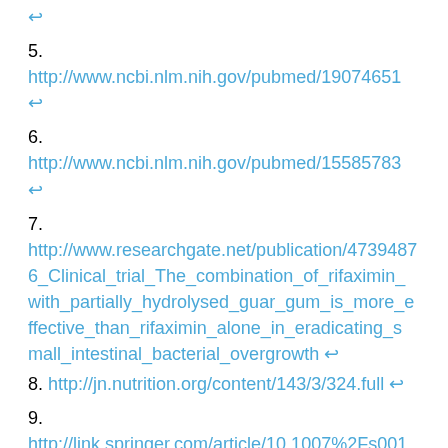↩
5. http://www.ncbi.nlm.nih.gov/pubmed/19074651 ↩
6. http://www.ncbi.nlm.nih.gov/pubmed/15585783 ↩
7. http://www.researchgate.net/publication/47394876_Clinical_trial_The_combination_of_rifaximin_with_partially_hydrolysed_guar_gum_is_more_effective_than_rifaximin_alone_in_eradicating_small_intestinal_bacterial_overgrowth ↩
8. http://jn.nutrition.org/content/143/3/324.full ↩
9. http://link.springer.com/article/10.1007%2Fs00125-007-0791-0#/page-1 ↩
10. https://www.gdx.net/core/interpretive...